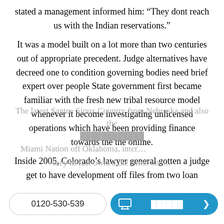stated a management informed him: “They dont reach us with the Indian reservations.”
It was a model built on a lot more than two centuries out of appropriate precedent. Judge alternatives have decreed one to condition governing bodies need brief expert over people State government first became familiar with the fresh new tribal resource model whenever it become investigating unlicensed operations which have been providing finance towards the the online.
Inside 2005, Colorado’s lawyer general gotten a judge get to have development off files from two loan providers which might be pay check currency Improve and Prominent Cash Financing, hence ran various other sites around names including Ameriloan and one Click Dollars.
The latest Santee Sioux Country from Nebraska and also the Miami Nation off Oklahoma, inter… they in fact owned the firms one…